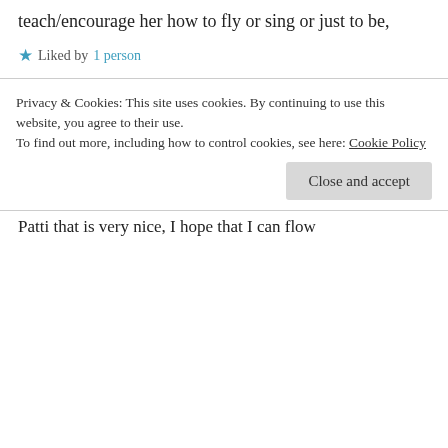teach/encourage her how to fly or sing or just to be,
Liked by 1 person
↳ Reply
Patti Clark on April 11, 2012 at 8:55 pm
Thank you Vic! Your words make my heart sing.
Like
Privacy & Cookies: This site uses cookies. By continuing to use this website, you agree to their use. To find out more, including how to control cookies, see here: Cookie Policy
Close and accept
Patti that is very nice, I hope that I can flow